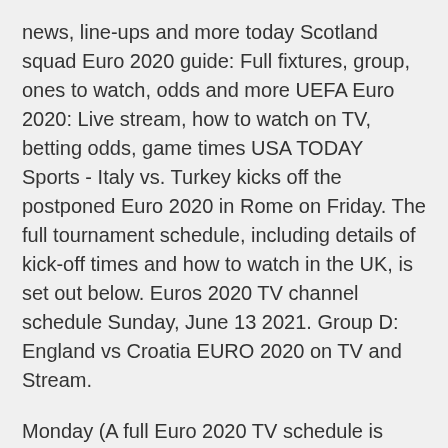news, line-ups and more today Scotland squad Euro 2020 guide: Full fixtures, group, ones to watch, odds and more UEFA Euro 2020: Live stream, how to watch on TV, betting odds, game times USA TODAY Sports - Italy vs. Turkey kicks off the postponed Euro 2020 in Rome on Friday. The full tournament schedule, including details of kick-off times and how to watch in the UK, is set out below. Euros 2020 TV channel schedule Sunday, June 13 2021. Group D: England vs Croatia EURO 2020 on TV and Stream.
Monday (A full Euro 2020 TV schedule is available at the bottom of this story.) Additionally, every Euro 2020 match will be available on the ESPN+ streaming service, perfect for those without a cable TV Whether you want to watch the European Championship in English or